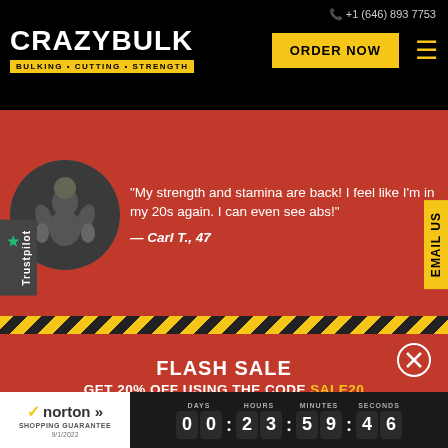+1 (646) 893 7753
CRAZYBULK BULKING • CUTTING • STRENGTH
ORDER NOW
"My strength and stamina are back! I feel like I'm in my 20s again. I can even see abs!" — Carl T., 47
EMAIL US
Trustpilot
FLASH SALE
GET 20% OFF USING THE CODE SALE20
CLICK HERE TO APPLY YOUR DISCOUNT AUTOMATICALLY
OFFER EXPIRES IN
norton SHOPPING GUARANTEE 9/1/2022
DAYS 00 HOURS 23 MINUTES 59 SECONDS 46